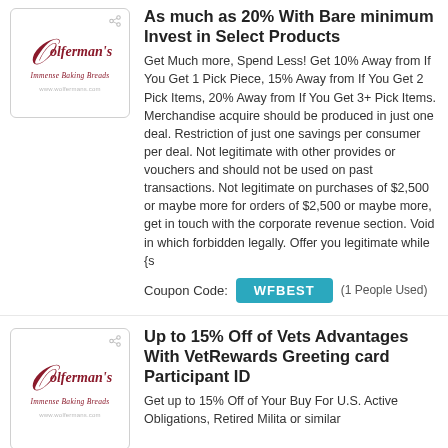[Figure (logo): Wolferman's brand logo in red italic script on white card with border]
As much as 20% With Bare minimum Invest in Select Products
Get Much more, Spend Less! Get 10% Away from If You Get 1 Pick Piece, 15% Away from If You Get 2 Pick Items, 20% Away from If You Get 3+ Pick Items. Merchandise acquire should be produced in just one deal. Restriction of just one savings per consumer per deal. Not legitimate with other provides or vouchers and should not be used on past transactions. Not legitimate on purchases of $2,500 or maybe more for orders of $2,500 or maybe more, get in touch with the corporate revenue section. Void in which forbidden legally. Offer you legitimate while {s
Coupon Code: WFBEST (1 People Used)
[Figure (logo): Wolferman's brand logo in red italic script on white card with border]
Up to 15% Off of Vets Advantages With VetRewards Greeting card Participant ID
Get up to 15% Off of Your Buy For U.S. Active Obligations, Retired Military or similar